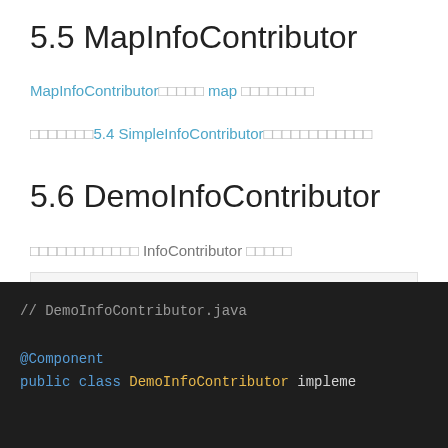5.5 MapInfoContributor
MapInfoContributor□□□□□ map □□□□□□□□
□□□□□□□5.4 SimpleInfoContributor□□□□□□□□□□□□
5.6 DemoInfoContributor
□□□□□□□□□□□□ InfoContributor □□□□□
cn.iocoder.springboot.lab34.actuatordemo.dem
□□□□□ DemoInfoContributor □□□□ InfoContributor □□□□□ InfoContributor □□□□□□
[Figure (screenshot): Code block showing DemoInfoContributor.java with @Component annotation and public class DemoInfoContributor implements declaration]